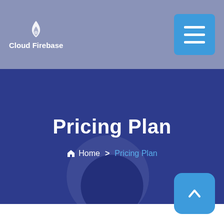Cloud Firebase
Pricing Plan
Home > Pricing Plan